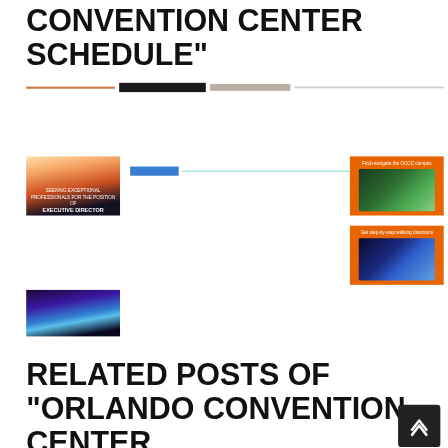CONVENTION CENTER SCHEDULE"
[Figure (photo): Row of four small thumbnail images: orange-brown bar, dark banner, faded photo, light gray bar]
[Figure (photo): Building at sunset with dome-like structures, text about Executive Director position]
[Figure (photo): Blue horizontal bar and teal line divider row]
[Figure (photo): Orange card with smartphone showing aerial map view (top)]
[Figure (photo): Orange card with smartphone showing floor plan/schedule (bottom)]
[Figure (photo): Convention center building at night reflected in water]
RELATED POSTS OF "ORLANDO CONVENTION CENTER SCHEDULE"